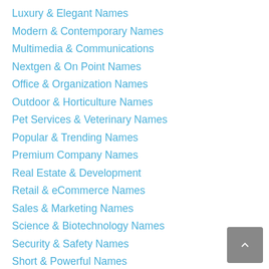Luxury & Elegant Names
Modern & Contemporary Names
Multimedia & Communications
Nextgen & On Point Names
Office & Organization Names
Outdoor & Horticulture Names
Pet Services & Veterinary Names
Popular & Trending Names
Premium Company Names
Real Estate & Development
Retail & eCommerce Names
Sales & Marketing Names
Science & Biotechnology Names
Security & Safety Names
Short & Powerful Names
Smart & Brainy Names
Startup & Entrepreneurial Names